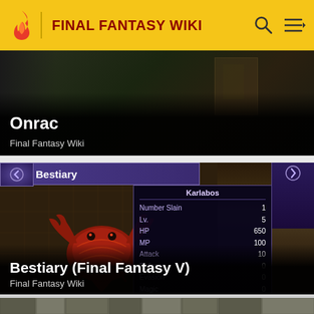FINAL FANTASY WIKI
[Figure (screenshot): Partially visible card showing Onrac page from Final Fantasy Wiki with dark dungeon background]
Onrac
Final Fantasy Wiki
[Figure (screenshot): Bestiary (Final Fantasy V) game screenshot showing Karlabos enemy with stat panel: Number Slain 1, Lv. 5, HP 650, MP 100, Attack 10, Defense 0, Evasion 0, Magic 0, Resistance 10, Gil 0, Experience 0, Steals Potion, Tent]
Bestiary (Final Fantasy V)
Final Fantasy Wiki
[Figure (screenshot): Partially visible card showing a dungeon/temple map from Final Fantasy with stone columns and mechanical elements]